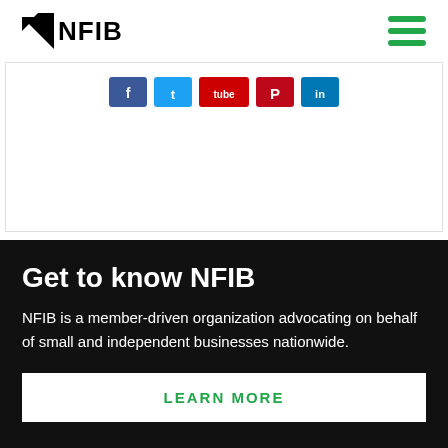NFIB
[Figure (screenshot): Social media share buttons: Facebook, Twitter, YouTube, Pinterest, LinkedIn]
Get to know NFIB
NFIB is a member-driven organization advocating on behalf of small and independent businesses nationwide.
LEARN MORE